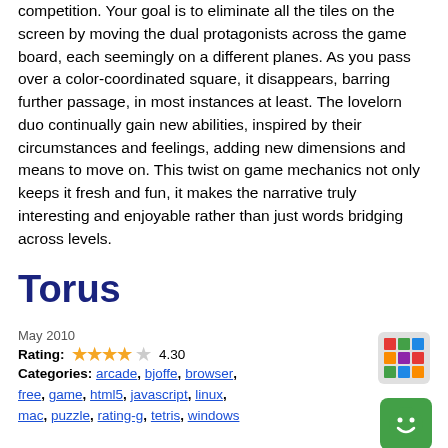competition. Your goal is to eliminate all the tiles on the screen by moving the dual protagonists across the game board, each seemingly on a different planes. As you pass over a color-coordinated square, it disappears, barring further passage, in most instances at least. The lovelorn duo continually gain new abilities, inspired by their circumstances and feelings, adding new dimensions and means to move on. This twist on game mechanics not only keeps it fresh and fun, it makes the narrative truly interesting and enjoyable rather than just words bridging across levels.
Torus
May 2010
Rating: 4.30
Categories: arcade, bjoffe, browser, free, game, html5, javascript, linux, mac, puzzle, rating-g, tetris, windows
While it's missing some bells and whistles (like sound effects, namely bells and whistles), and the name might be a bit of